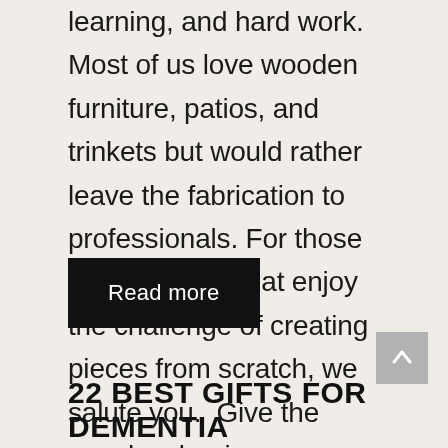learning, and hard work.  Most of us love wooden furniture, patios, and trinkets but would rather leave the fabrication to professionals. For those woodworkers that enjoy the challenge of creating pieces from scratch, we salute you.  Give the woodworker in your family ...
Read more
22 BEST GIFTS FOR DEMENTIA